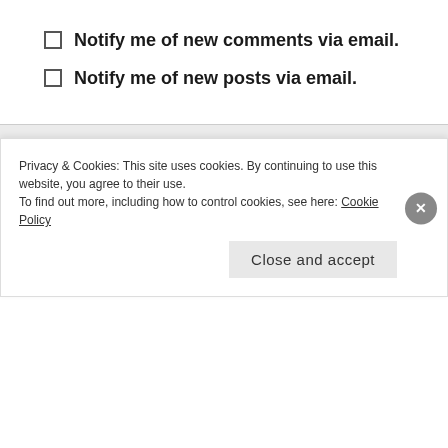Notify me of new comments via email.
Notify me of new posts via email.
SOCIAL
[Figure (other): Social media icons: Facebook, Twitter, Instagram]
SEARCH THE PAPER
Privacy & Cookies: This site uses cookies. By continuing to use this website, you agree to their use.
To find out more, including how to control cookies, see here: Cookie Policy
Close and accept